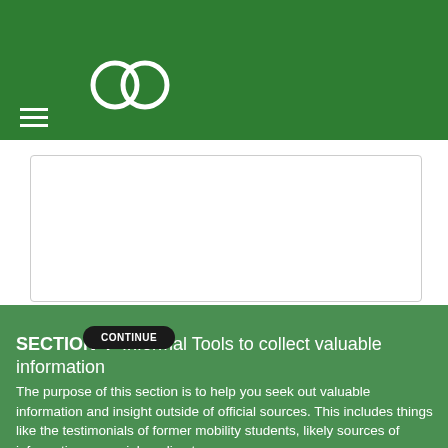[Figure (logo): White logo with '96' numeral design on green background header]
[Figure (screenshot): White card with dark rounded button showing partial text content]
SECTION 4 -Informal Tools to collect valuable information
The purpose of this section is to help you seek out valuable information and insight outside of official sources. This includes things like the testimonials of former mobility students, likely sources of information on social media etc…